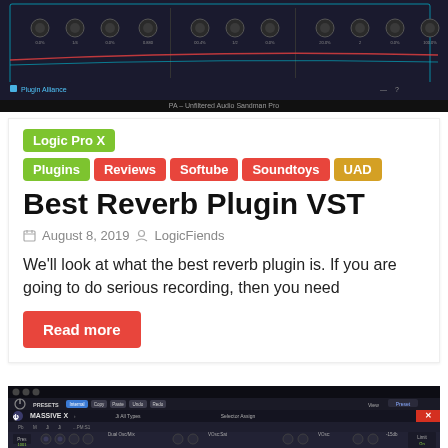[Figure (screenshot): Plugin Alliance – Unfiltered Audio Sandman Pro plugin interface screenshot showing knobs and controls on dark background]
Logic Pro X
Plugins
Reviews
Softube
Soundtoys
UAD
Best Reverb Plugin VST
August 8, 2019   LogicFiends
We'll look at what the best reverb plugin is. If you are going to do serious recording, then you need
Read more
[Figure (screenshot): Native Instruments Massive X synthesizer plugin interface screenshot showing dark UI with multiple knobs and controls]